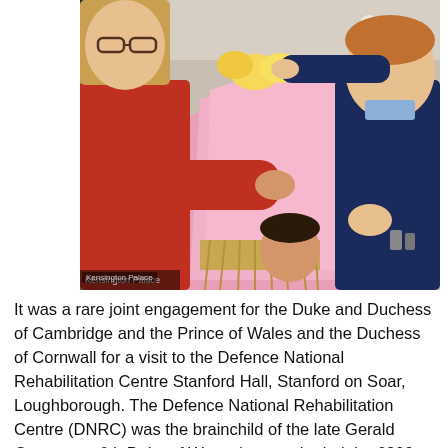[Figure (photo): A woman in a red top holds a large pink-wrapped bouquet of flowers and interacts with a small boy in a navy school uniform who is pointing at her nose. They appear to be inside a café or canteen. Another child's head is visible in the background.]
Kensington Palace
It was a rare joint engagement for the Duke and Duchess of Cambridge and the Prince of Wales and the Duchess of Cornwall for a visit to the Defence National Rehabilitation Centre Stanford Hall, Stanford on Soar, Loughborough. The Defence National Rehabilitation Centre (DNRC) was the brainchild of the late Gerald Grosvenor, 6th Duke of Westminster, who led the £300m fundraising drive with a personal gift of £70m. Sadly the Duke passed away in 2016 and did not have the opportunity to see the project come to fruition. The Duke was Prince Charles' friend and close confidante for decades. His wife Natalia is Prince William's